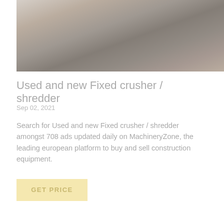[Figure (photo): Faded/washed-out photo of a large fixed crusher / shredder machine, industrial construction equipment, shown in a yard or industrial setting]
Used and new Fixed crusher / shredder
Sep 02, 2021
Search for Used and new Fixed crusher / shredder amongst 708 ads updated daily on MachineryZone, the leading european platform to buy and sell construction equipment.
GET PRICE